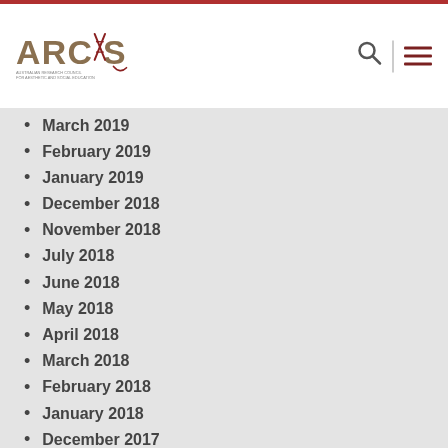ARCAS
March 2019
February 2019
January 2019
December 2018
November 2018
July 2018
June 2018
May 2018
April 2018
March 2018
February 2018
January 2018
December 2017
November 2017
October 2017
September 2017
August 2017